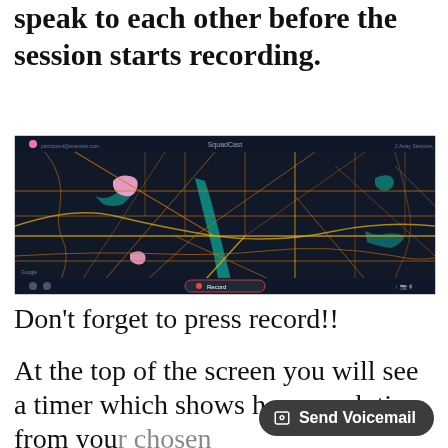speak to each other before the session starts recording.
[Figure (screenshot): Screenshot of SquadCast interface showing a dark map (Washington DC area) with road networks in yellow/gold and water features in teal. A red Record button is visible at the bottom center of the interface.]
Don't forget to press record!!
At the top of the screen you will see a timer which shows how much time from your chosen